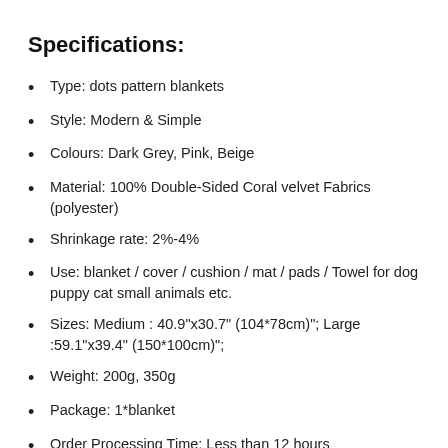Specifications:
Type: dots pattern blankets
Style: Modern & Simple
Colours: Dark Grey, Pink, Beige
Material: 100% Double-Sided Coral velvet Fabrics (polyester)
Shrinkage rate: 2%-4%
Use: blanket / cover / cushion / mat / pads / Towel for dog puppy cat small animals etc.
Sizes: Medium : 40.9"x30.7" (104*78cm)"; Large :59.1"x39.4" (150*100cm)";
Weight: 200g, 350g
Package: 1*blanket
Order Processing Time: Less than 12 hours
Delivery Time: 8-10 Business Days depending on the